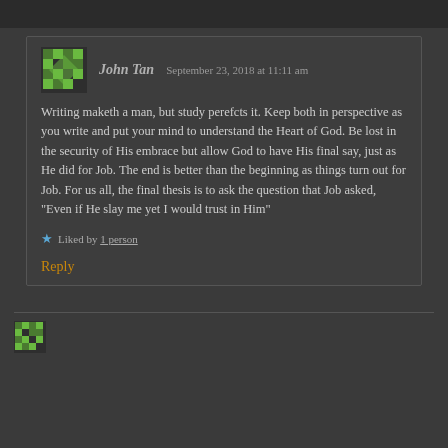John Tan   September 23, 2018 at 11:11 am
Writing maketh a man, but study perefcts it. Keep both in perspective as you write and put your mind to understand the Heart of God. Be lost in the security of His embrace but allow God to have His final say, just as He did for Job. The end is better than the beginning as things turn out for Job. For us all, the final thesis is to ask the question that Job asked, "Even if He slay me yet I would trust in Him"
Liked by 1 person
Reply